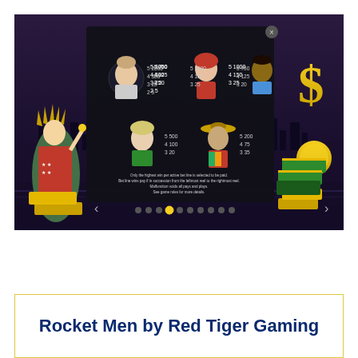[Figure (screenshot): Screenshot of a slot game paytable screen for 'Rocket Men by Red Tiger Gaming'. Shows caricature characters including Putin, a red-dressed woman, Obama, Hillary Clinton, and a Mexican figure, each with payout multipliers (e.g., 5:2000, 4:300, 3:25, 2:5 for top character). Background shows New York City skyline at night with gold dollar signs, gold bars, and stacks of money on the sides. Navigation arrows and dots are visible at the bottom.]
Rocket Men by Red Tiger Gaming